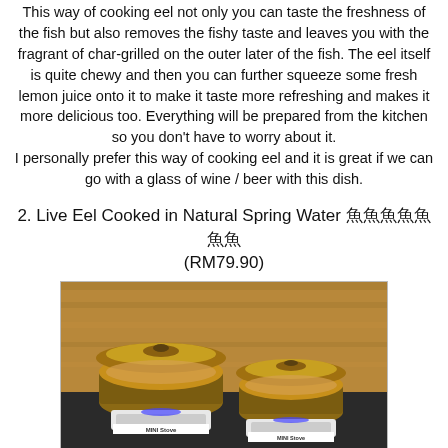This way of cooking eel not only you can taste the freshness of the fish but also removes the fishy taste and leaves you with the fragrant of char-grilled on the outer later of the fish. The eel itself is quite chewy and then you can further squeeze some fresh lemon juice onto it to make it taste more refreshing and makes it more delicious too. Everything will be prepared from the kitchen so you don't have to worry about it.
I personally prefer this way of cooking eel and it is great if we can go with a glass of wine / beer with this dish.
2. Live Eel Cooked in Natural Spring Water 鰻魚春水 (RM79.90)
[Figure (photo): Two glass pots with amber-colored lids sitting on portable Mini Stove burners, containing eel cooking in natural spring water. The pots are on a dark surface with a wooden background.]